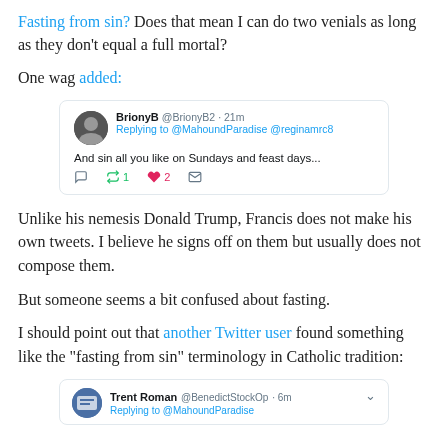Fasting from sin? Does that mean I can do two venials as long as they don't equal a full mortal?
One wag added:
[Figure (screenshot): Tweet from BrionyB @BrionyB2 · 21m replying to @MahoundParadise @reginamrc8 saying 'And sin all you like on Sundays and feast days...' with 1 retweet and 2 likes.]
Unlike his nemesis Donald Trump, Francis does not make his own tweets. I believe he signs off on them but usually does not compose them.
But someone seems a bit confused about fasting.
I should point out that another Twitter user found something like the "fasting from sin" terminology in Catholic tradition:
[Figure (screenshot): Tweet from Trent Roman @BenedictStockOp · 6m replying to @MahoundParadise]